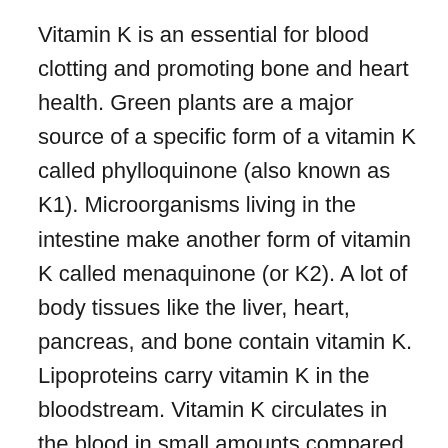Vitamin K is an essential for blood clotting and promoting bone and heart health. Green plants are a major source of a specific form of a vitamin K called phylloquinone (also known as K1). Microorganisms living in the intestine make another form of vitamin K called menaquinone (or K2). A lot of body tissues like the liver, heart, pancreas, and bone contain vitamin K. Lipoproteins carry vitamin K in the bloodstream. Vitamin K circulates in the blood in small amounts compared to other fat-soluble vitamins
Suboptimal levels of vitamin K may lead to